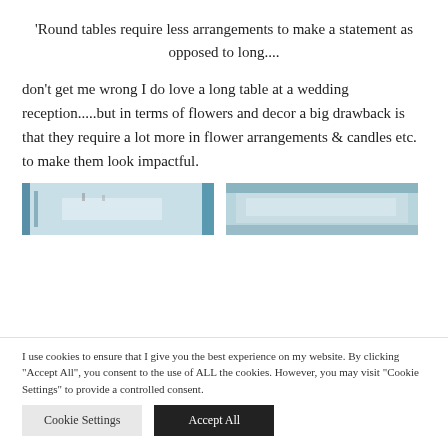'Round tables require less arrangements to make a statement as opposed to long....
don't get me wrong I do love a long table at a wedding reception.....but in terms of flowers and decor a big drawback is that they require a lot more in flower arrangements & candles etc. to make them look impactful.
[Figure (photo): Two side-by-side photos of wedding table arrangements with flowers and decor, partially visible at bottom of content area]
I use cookies to ensure that I give you the best experience on my website. By clicking "Accept All", you consent to the use of ALL the cookies. However, you may visit "Cookie Settings" to provide a controlled consent.